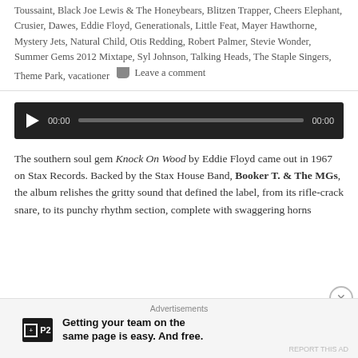Toussaint, Black Joe Lewis & The Honeybears, Blitzen Trapper, Cheers Elephant, Crusier, Dawes, Eddie Floyd, Generationals, Little Feat, Mayer Hawthorne, Mystery Jets, Natural Child, Otis Redding, Robert Palmer, Stevie Wonder, Summer Gems 2012 Mixtape, Syl Johnson, Talking Heads, The Staple Singers, Theme Park, vacationer
💬 Leave a comment
[Figure (other): Audio player widget with play button, time display showing 00:00, progress bar, and end time 00:00 on dark background]
The southern soul gem Knock On Wood by Eddie Floyd came out in 1967 on Stax Records. Backed by the Stax House Band, Booker T. & The MGs, the album relishes the gritty sound that defined the label, from its rifle-crack snare, to its punchy rhythm section, complete with swaggering horns
Advertisements
[Figure (other): P2 advertisement: logo with plus icon and P2 text, with tagline 'Getting your team on the same page is easy. And free.']